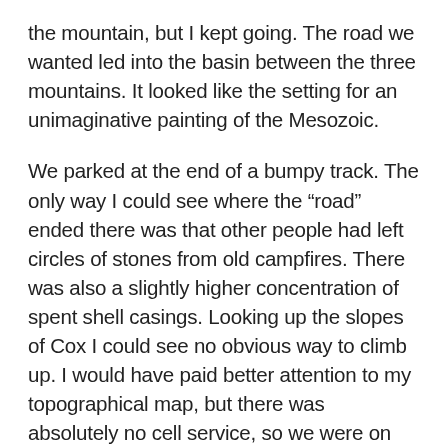the mountain, but I kept going. The road we wanted led into the basin between the three mountains. It looked like the setting for an unimaginative painting of the Mesozoic.
We parked at the end of a bumpy track. The only way I could see where the “road” ended there was that other people had left circles of stones from old campfires. There was also a slightly higher concentration of spent shell casings. Looking up the slopes of Cox I could see no obvious way to climb up. I would have paid better attention to my topographical map, but there was absolutely no cell service, so we were on our own. I had googled the mountain and found another hiker’s description of climbing Cox. He talked about following a scree trail up the slope. As we hiked over the rolling foothills, we could see tongues of broken rock dipping